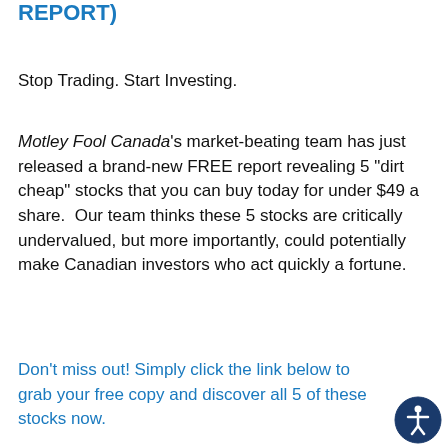REPORT)
Stop Trading. Start Investing.
Motley Fool Canada's market-beating team has just released a brand-new FREE report revealing 5 “dirt cheap” stocks that you can buy today for under $49 a share.  Our team thinks these 5 stocks are critically undervalued, but more importantly, could potentially make Canadian investors who act quickly a fortune.
Don’t miss out! Simply click the link below to grab your free copy and discover all 5 of these stocks now.